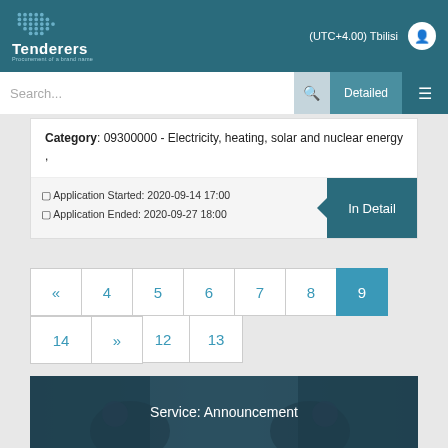Tenderers - (UTC+4.00) Tbilisi
Category: 09300000 - Electricity, heating, solar and nuclear energy ,
Application Started: 2020-09-14 17:00
Application Ended: 2020-09-27 18:00
« 4 5 6 7 8 9 10 11 12 13
14 »
Service: Announcement